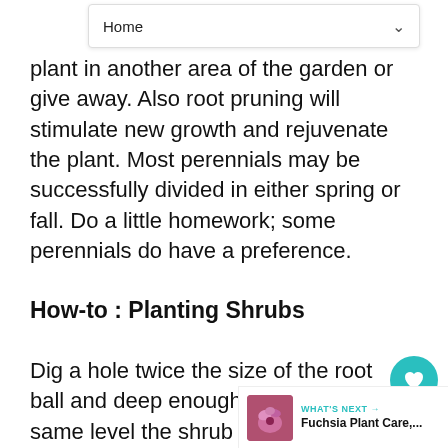Home
plant in another area of the garden or give away. Also root pruning will stimulate new growth and rejuvenate the plant. Most perennials may be successfully divided in either spring or fall. Do a little homework; some perennials do have a preference.
How-to : Planting Shrubs
Dig a hole twice the size of the root ball and deep enough to plant at the same level the shrub was in the container. If soil is poor, dig hole even wider and fill with a mixture of original soil and half compost or soil amendment.
[Figure (other): What's Next sidebar showing Fuchsia Plant Care thumbnail with teal arrow label]
WHAT'S NEXT → Fuchsia Plant Care,...